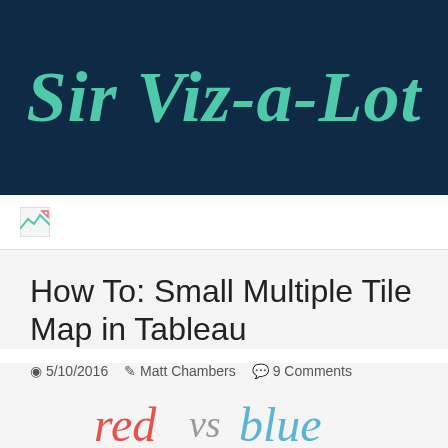Sir Viz-a-Lot
[Figure (logo): Broken image placeholder in navigation area]
How To: Small Multiple Tile Map in Tableau
5/10/2016  Matt Chambers  9 Comments
[Figure (illustration): Partial preview showing 'red vs blue' text in stylized handwritten font]